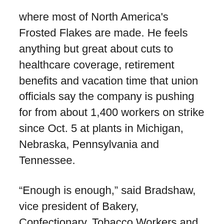where most of North America's Frosted Flakes are made. He feels anything but great about cuts to healthcare coverage, retirement benefits and vacation time that union officials say the company is pushing for from about 1,400 workers on strike since Oct. 5 at plants in Michigan, Nebraska, Pennsylvania and Tennessee.
“Enough is enough,” said Bradshaw, vice president of Bakery, Confectionary, Tobacco Workers and Grain Millers International Union Local 252G at the Memphis plant. “We can’t afford to keep giving away things to a company that financially has made record-breaking returns.”
Some 60,000 behind-the-scenes workers on